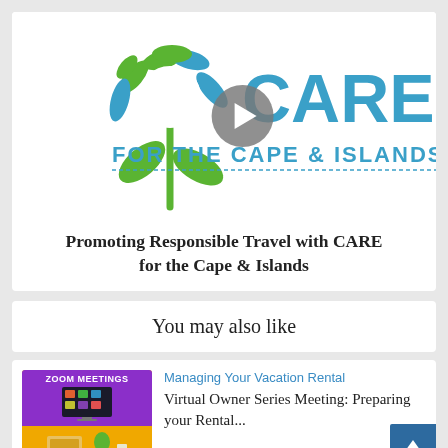[Figure (logo): CARE for the Cape & Islands logo with flower made of hands in green and blue, with play button overlay]
Promoting Responsible Travel with CARE for the Cape & Islands
You may also like
[Figure (screenshot): Zoom Meetings thumbnail showing purple header with monitor icon and orange background]
Managing Your Vacation Rental
Virtual Owner Series Meeting: Preparing your Rental...
[Figure (screenshot): Partial thumbnail for second related article]
Managing Your Vacation Rental